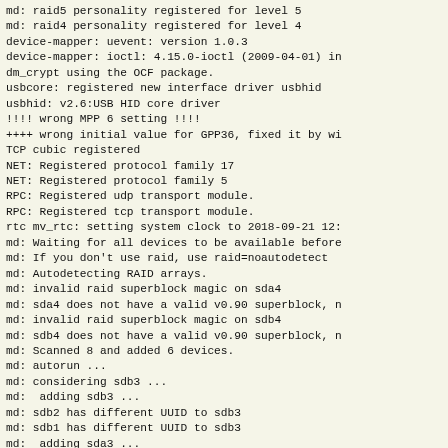md: raid5 personality registered for level 5
md: raid4 personality registered for level 4
device-mapper: uevent: version 1.0.3
device-mapper: ioctl: 4.15.0-ioctl (2009-04-01) in
dm_crypt using the OCF package.
usbcore: registered new interface driver usbhid
usbhid: v2.6:USB HID core driver
!!!! wrong MPP 6 setting !!!!
++++ wrong initial value for GPP36, fixed it by wi
TCP cubic registered
NET: Registered protocol family 17
NET: Registered protocol family 5
RPC: Registered udp transport module.
RPC: Registered tcp transport module.
rtc mv_rtc: setting system clock to 2018-09-21 12:
md: Waiting for all devices to be available before
md: If you don't use raid, use raid=noautodetect
md: Autodetecting RAID arrays.
md: invalid raid superblock magic on sda4
md: sda4 does not have a valid v0.90 superblock, n
md: invalid raid superblock magic on sdb4
md: sdb4 does not have a valid v0.90 superblock, n
md: Scanned 8 and added 6 devices.
md: autorun ...
md: considering sdb3 ...
md:  adding sdb3 ...
md: sdb2 has different UUID to sdb3
md: sdb1 has different UUID to sdb3
md:  adding sda3 ...
md: sda2 has different UUID to sdb3
md: sds1 has different UUID to sdb3